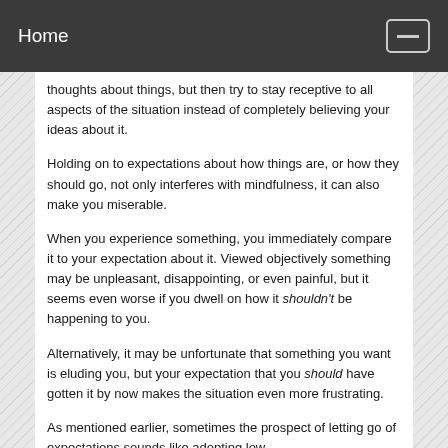Home
thoughts about things, but then try to stay receptive to all aspects of the situation instead of completely believing your ideas about it.
Holding on to expectations about how things are, or how they should go, not only interferes with mindfulness, it can also make you miserable.
When you experience something, you immediately compare it to your expectation about it. Viewed objectively something may be unpleasant, disappointing, or even painful, but it seems even worse if you dwell on how it shouldn't be happening to you.
Alternatively, it may be unfortunate that something you want is eluding you, but your expectation that you should have gotten it by now makes the situation even more frustrating.
As mentioned earlier, sometimes the prospect of letting go of expectations sounds like adopting low